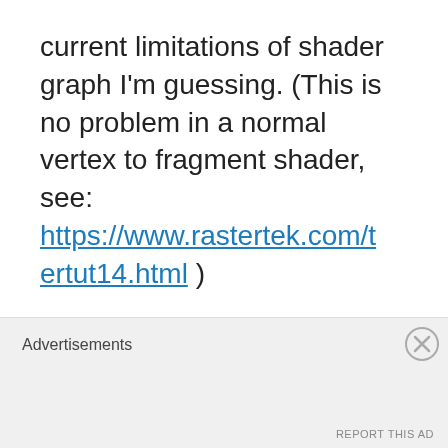current limitations of shader graph I'm guessing. (This is no problem in a normal vertex to fragment shader, see: https://www.rastertek.com/tertut14.html )

Because the normals returned from the Normal Vector node are the normals from before the vertex displacement we would have to some how reconstruct the displaced
Advertisements